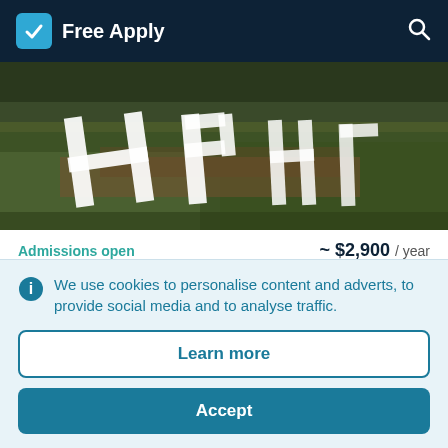Free Apply
[Figure (photo): Aerial or ground-level photo of university grounds with white letters 'HP' formed by painted stones or landscaping on a grassy hill]
Admissions open
~ $2,900 / year
Al Hawash Private University for Pharmacy and Cosmetology
We use cookies to personalise content and adverts, to provide social media and to analyse traffic.
Learn more
Accept